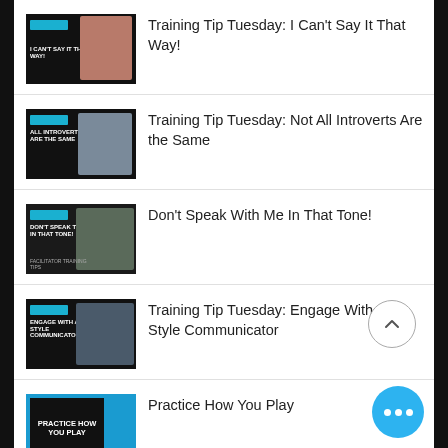Training Tip Tuesday: I Can't Say It That Way!
Training Tip Tuesday: Not All Introverts Are the Same
Don't Speak With Me In That Tone!
Training Tip Tuesday: Engage With a C-Style Communicator
Practice How You Play